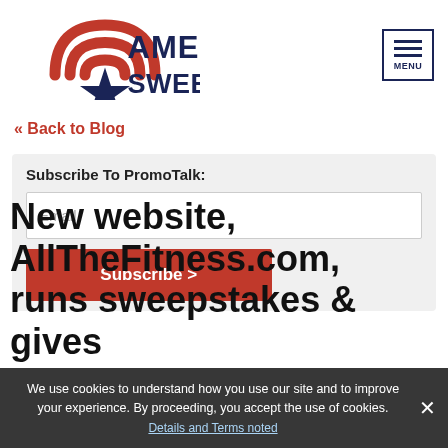[Figure (logo): American Sweepstakes logo with red wifi arc above a blue star, and 'AMERICAN SWEEPSTAKES' text in dark blue]
« Back to Blog
Subscribe To PromoTalk:
Email
Subscribe >
New website, AllTheFitness.com, runs sweepstakes & gives...
We use cookies to understand how you use our site and to improve your experience. By proceeding, you accept the use of cookies.